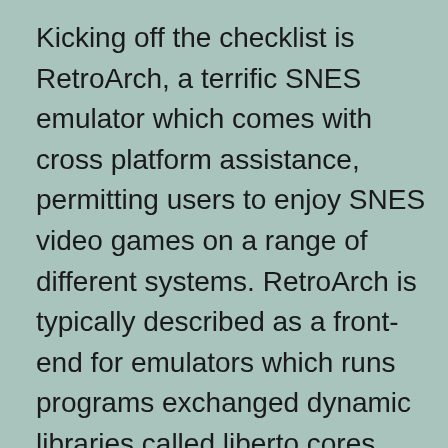Kicking off the checklist is RetroArch, a terrific SNES emulator which comes with cross platform assistance, permitting users to enjoy SNES video games on a range of different systems. RetroArch is typically described as a front-end for emulators which runs programs exchanged dynamic libraries called liberto cores. Essentially, the software application gives a polished interface for the individual to play a variety of timeless games, making it quite easy to use. The emulator consists of support for a number of various controllers as well as it provides several advanced attributes